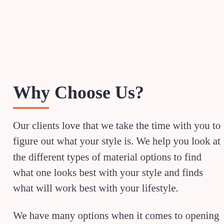Why Choose Us?
Our clients love that we take the time with you to figure out what your style is. We help you look at the different types of material options to find what one looks best with your style and finds what will work best with your lifestyle.
We have many options when it comes to opening up your kitchen layout. We can create a serving window to give you the open feel but not have to rip out the entire